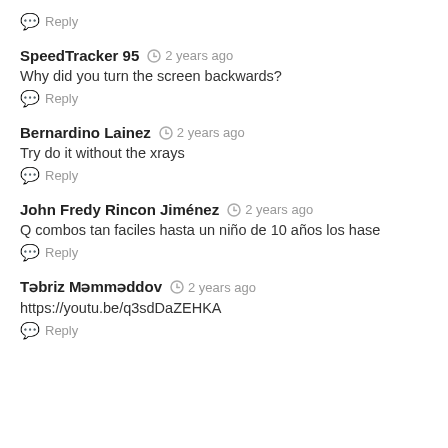Reply
SpeedTracker 95 · 2 years ago
Why did you turn the screen backwards?
Reply
Bernardino Lainez · 2 years ago
Try do it without the xrays
Reply
John Fredy Rincon Jiménez · 2 years ago
Q combos tan faciles hasta un niño de 10 años los hase
Reply
Təbriz Məmməddov · 2 years ago
https://youtu.be/q3sdDaZEHKA
Reply